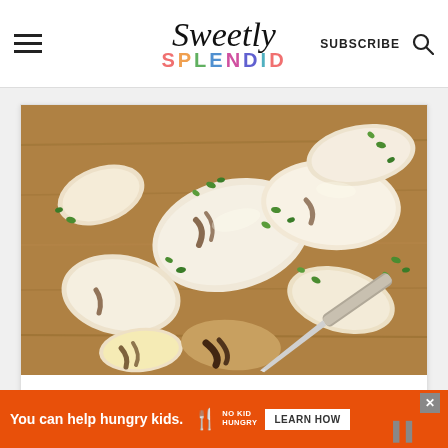Sweetly Splendid — SUBSCRIBE
[Figure (photo): Sliced grilled chicken breast pieces garnished with chopped fresh herbs (parsley/chives) on a wooden cutting board with a carving knife]
[Figure (infographic): Advertisement banner: orange background with text 'You can help hungry kids.' No Kid Hungry fork logo and 'LEARN HOW' button in white]